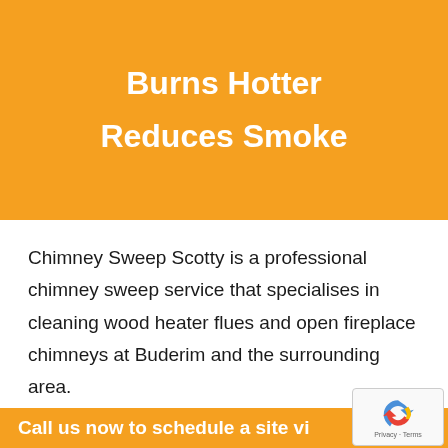Burns Hotter
Reduces Smoke
Chimney Sweep Scotty is a professional chimney sweep service that specialises in cleaning wood heater flues and open fireplace chimneys at Buderim and the surrounding area.
Call Scotty Now
Call us now to schedule a site vi…